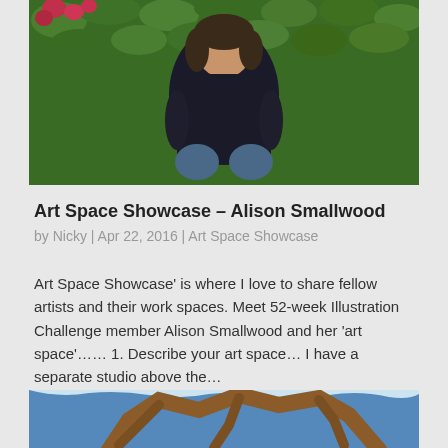[Figure (photo): Portrait photo of Alison Smallwood, a woman in a black sweater sitting in front of a green ivy wall with red flowers]
Art Space Showcase – Alison Smallwood
by Nicky | Apr 22, 2016 | Art Space Showcase
Art Space Showcase' is where I love to share fellow artists and their work spaces. Meet 52-week Illustration Challenge member Alison Smallwood and her 'art space'…… 1. Describe your art space… I have a separate studio above the…
[Figure (illustration): Illustrated image of tree branches with a blue-sky background, cartoon/illustrated style]